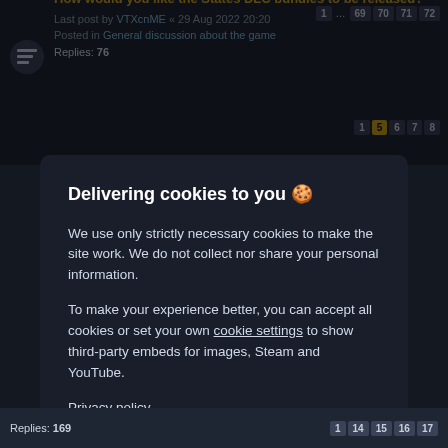How would you like the States DLC bundles to be released?
Last post by VTXcnME « 29 Aug 2022 20:20
Posted in General discussion about the game
Replies: 76
Delivering cookies to you 🍪
We use only strictly necessary cookies to make the site work. We do not collect nor share your personal information.
To make your experience better, you can accept all cookies or set your own cookie settings to show third-party embeds for images, Steam and YouTube.
Privacy policy
Accept all
Reject optional
Replies: 169